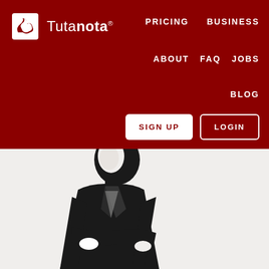[Figure (logo): Tutanota logo: white stylized bird/envelope icon with text 'Tutanota' (bold 'nota') and registered trademark symbol, on dark red background]
PRICING   BUSINESS   ABOUT   FAQ   JOBS   BLOG
[Figure (screenshot): Two buttons: 'SIGN UP' (white background, dark red text) and 'LOGIN' (transparent background, white text with white border)]
[Figure (photo): High contrast black and white stylized image of a person with arms crossed, looking upward, visible from torso up, on light gray/white background]